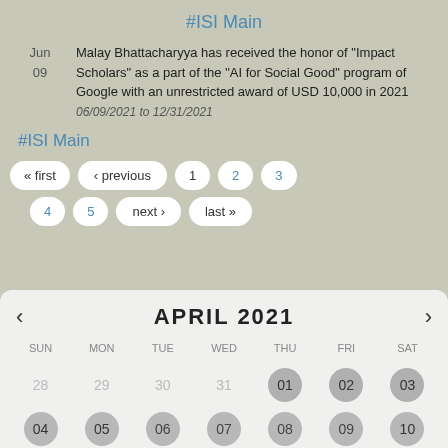#ISI Main
Jun 09
Malay Bhattacharyya has received the honor of "Impact Scholars" as a part of the "AI for Social Good" program of Google with an unrestricted award of USD 10,000 in 2021
06/09/2021 to 12/31/2021
#ISI Main
« first
‹ previous
1
2
3
4
5
next ›
last »
[Figure (other): Calendar showing April 2021 with navigation arrows, days of week headers (SUN MON TUE WED THU FRI SAT), and first row showing 28, 29, 30, 31, 01, 02, 03 where 01, 02, 03 are highlighted]